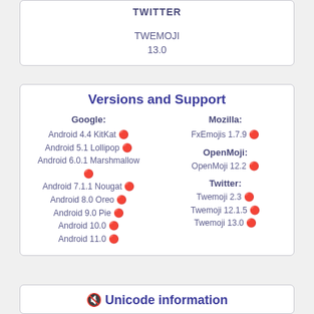TWITTER
TWEMOJI
13.0
Versions and Support
Google:
Android 4.4 KitKat 🔴
Android 5.1 Lollipop 🔴
Android 6.0.1 Marshmallow 🔴
Android 7.1.1 Nougat 🔴
Android 8.0 Oreo 🔴
Android 9.0 Pie 🔴
Android 10.0 🔴
Android 11.0 🔴
Mozilla:
FxEmojis 1.7.9 🔴
OpenMoji:
OpenMoji 12.2 🔴
Twitter:
Twemoji 2.3 🔴
Twemoji 12.1.5 🔴
Twemoji 13.0 🔴
🔇 Unicode information